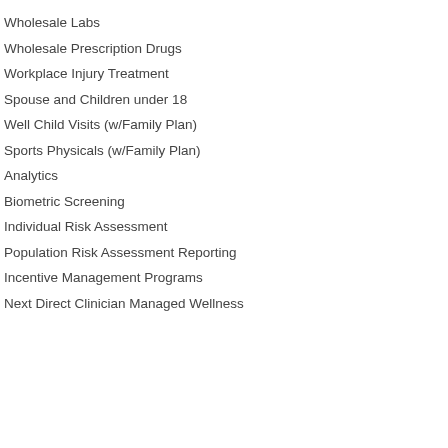Wholesale Labs
Wholesale Prescription Drugs
Workplace Injury Treatment
Spouse and Children under 18
Well Child Visits (w/Family Plan)
Sports Physicals (w/Family Plan)
Analytics
Biometric Screening
Individual Risk Assessment
Population Risk Assessment Reporting
Incentive Management Programs
Next Direct Clinician Managed Wellness